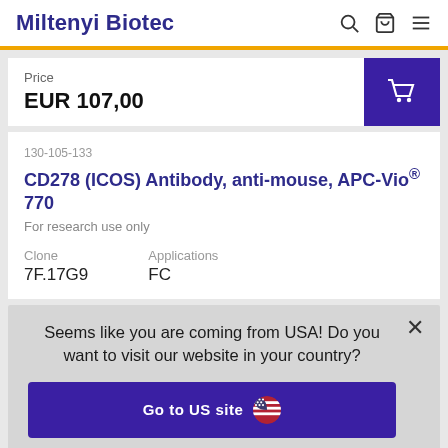Miltenyi Biotec
Price
EUR 107,00
130-105-133
CD278 (ICOS) Antibody, anti-mouse, APC-Vio® 770
For research use only
Clone: 7F.17G9
Applications: FC
Seems like you are coming from USA! Do you want to visit our website in your country?
Go to US site
Stay on Dutch site